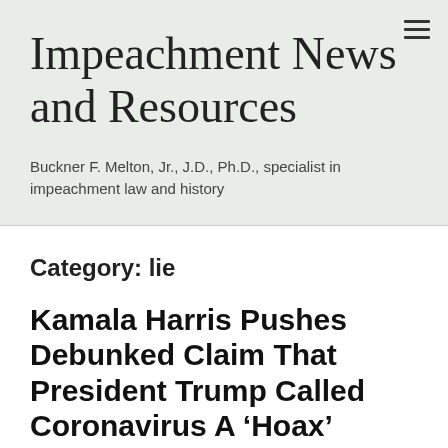Impeachment News and Resources
Buckner F. Melton, Jr., J.D., Ph.D., specialist in impeachment law and history
Category: lie
Kamala Harris Pushes Debunked Claim That President Trump Called Coronavirus A ‘Hoax’